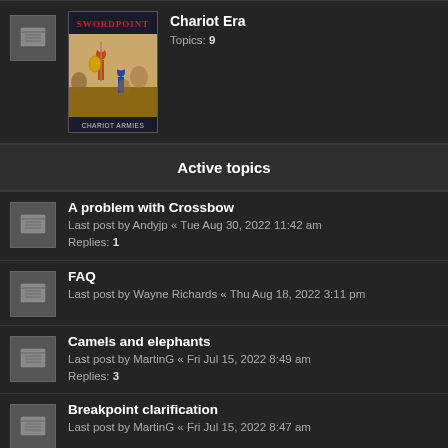[Figure (illustration): Swordpoint: Chariot Armies book cover showing ancient warriors with chariots]
Chariot Era
Topics: 9
Active topics
A problem with Crossbow
Last post by Andyjp « Tue Aug 30, 2022 11:42 am
Replies: 1
FAQ
Last post by Wayne Richards « Thu Aug 18, 2022 3:11 pm
Camels and elephants
Last post by MartinG « Fri Jul 15, 2022 8:49 am
Replies: 3
Breakpoint clarification
Last post by MartinG « Fri Jul 15, 2022 8:47 am